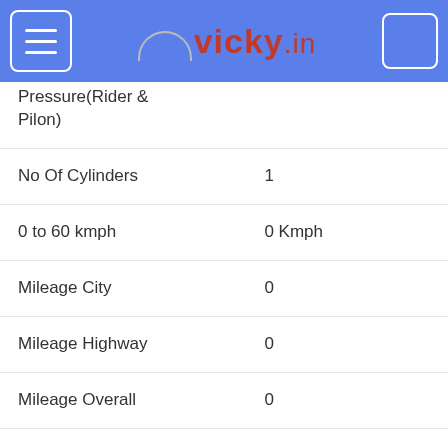vicky.in
| Pressure(Rider & Pilon) |  |
| No Of Cylinders | 1 |
| 0 to 60 kmph | 0 Kmph |
| Mileage City | 0 |
| Mileage Highway | 0 |
| Mileage Overall | 0 |
| Low Fuel Warning Lamp | Y |
| Pilot Lamps | 0 |